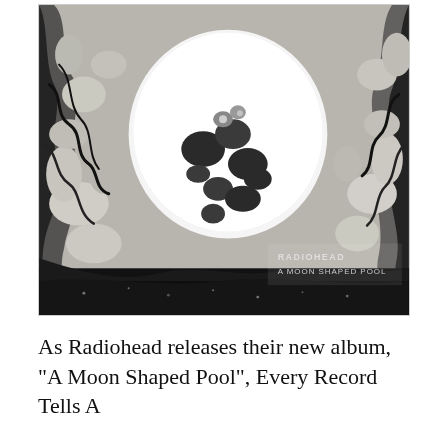[Figure (photo): Album cover of Radiohead's 'A Moon Shaped Pool'. Black and white abstract marbled fluid art forming a circular void in the center, with dark swirling liquid shapes around the edges. Text in the lower right reads 'RADIOHEAD / A MOON SHAPED POOL'.]
As Radiohead releases their new album, "A Moon Shaped Pool", Every Record Tells A